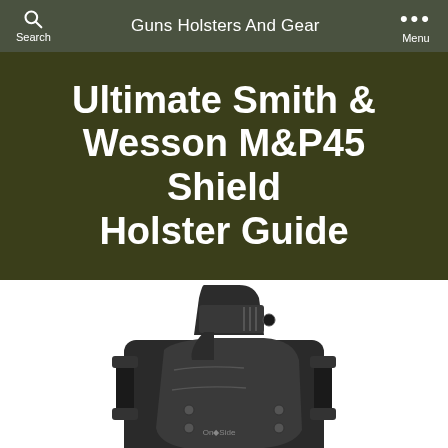Guns Holsters And Gear — Search / Menu
Ultimate Smith & Wesson M&P45 Shield Holster Guide
[Figure (photo): A black IWB/OWB hybrid holster with a semi-automatic pistol inserted, showing belt clips and kydex shell construction]